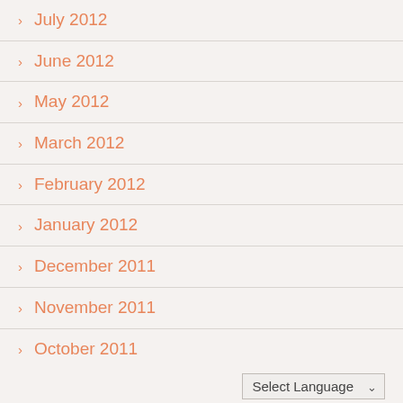July 2012
June 2012
May 2012
March 2012
February 2012
January 2012
December 2011
November 2011
October 2011
Select Language